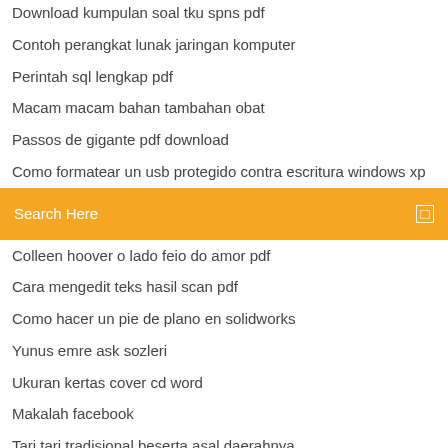Download kumpulan soal tku spns pdf
Contoh perangkat lunak jaringan komputer
Perintah sql lengkap pdf
Macam macam bahan tambahan obat
Passos de gigante pdf download
Como formatear un usb protegido contra escritura windows xp
[Figure (screenshot): Orange search bar with text 'Search Here' and a small square icon on the right]
Colleen hoover o lado feio do amor pdf
Cara mengedit teks hasil scan pdf
Como hacer un pie de plano en solidworks
Yunus emre ask sozleri
Ukuran kertas cover cd word
Makalah facebook
Tari tari tradisional beserta asal daerahnya
Libro del taoismo
Qué significa filologos
Matematika ekonomi deret pdf